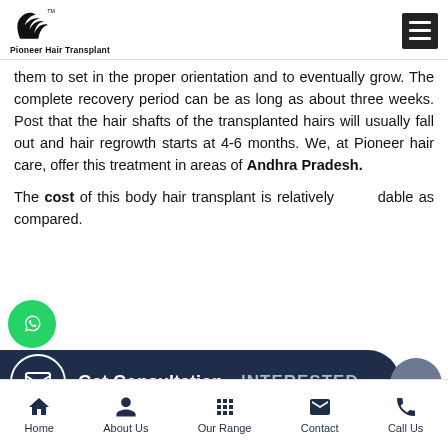Pioneer Hair Transplant
them to set in the proper orientation and to eventually grow. The complete recovery period can be as long as about three weeks. Post that the hair shafts of the transplanted hairs will usually fall out and hair regrowth starts at 4-6 months. We, at Pioneer hair care, offer this treatment in areas of Andhra Pradesh.
The cost of this body hair transplant is relatively affordable as compared.
[Figure (other): WhatsApp floating contact button (green circle with WhatsApp icon)]
[Figure (other): Get Consultation dark navy bar with email icon and INTERESTED text]
[Figure (other): Scroll-up grey circular button with upward chevron]
Home | About Us | Our Range | Contact | Call Us